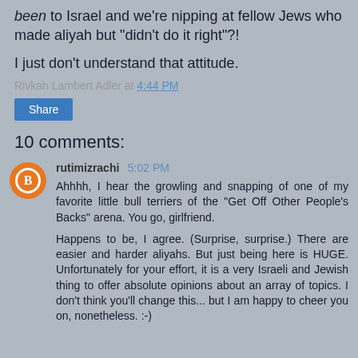been to Israel and we're nipping at fellow Jews who made aliyah but "didn't do it right"?!
I just don't understand that attitude.
Rivkah Lambert Adler at 4:44 PM
Share
10 comments:
rutimizrachi 5:02 PM
Ahhhh, I hear the growling and snapping of one of my favorite little bull terriers of the "Get Off Other People's Backs" arena. You go, girlfriend.

Happens to be, I agree. (Surprise, surprise.) There are easier and harder aliyahs. But just being here is HUGE. Unfortunately for your effort, it is a very Israeli and Jewish thing to offer absolute opinions about an array of topics. I don't think you'll change this... but I am happy to cheer you on, nonetheless. :-)